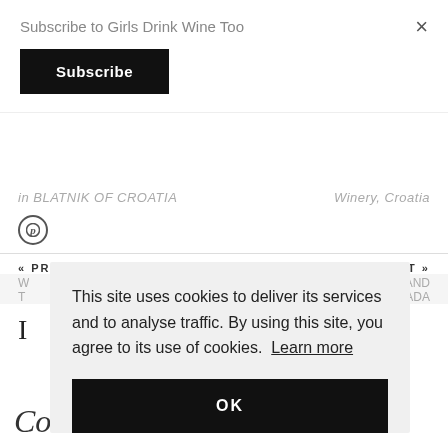Subscribe to Girls Drink Wine Too
Subscribe
×
in BLATNIK OF CROATIA | Winery, Croatia
« PREVIOUS POST
NEXT POST »
AND
IADA
This site uses cookies to deliver its services and to analyse traffic. By using this site, you agree to its use of cookies.  Learn more
OK
Comment